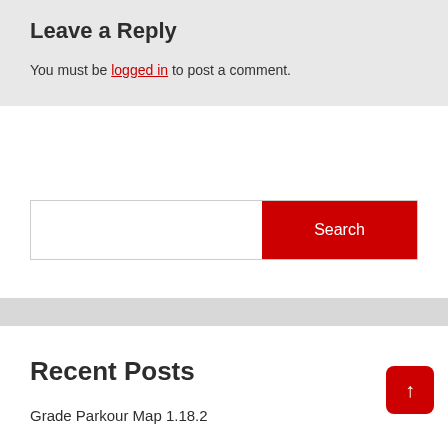Leave a Reply
You must be logged in to post a comment.
[Figure (screenshot): Search bar with white input field and red Search button]
Recent Posts
Grade Parkour Map 1.18.2